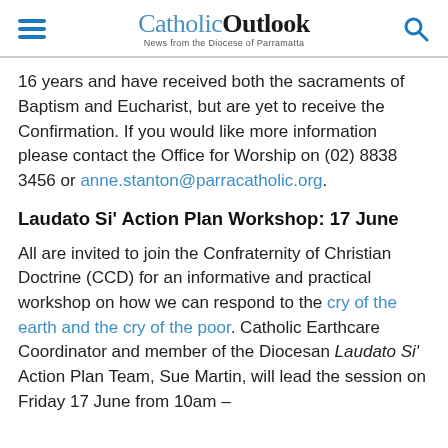Catholic Outlook – News from the Diocese of Parramatta
16 years and have received both the sacraments of Baptism and Eucharist, but are yet to receive the Confirmation. If you would like more information please contact the Office for Worship on (02) 8838 3456 or anne.stanton@parracatholic.org.
Laudato Si' Action Plan Workshop: 17 June
All are invited to join the Confraternity of Christian Doctrine (CCD) for an informative and practical workshop on how we can respond to the cry of the earth and the cry of the poor. Catholic Earthcare Coordinator and member of the Diocesan Laudato Si' Action Plan Team, Sue Martin, will lead the session on Friday 17 June from 10am –